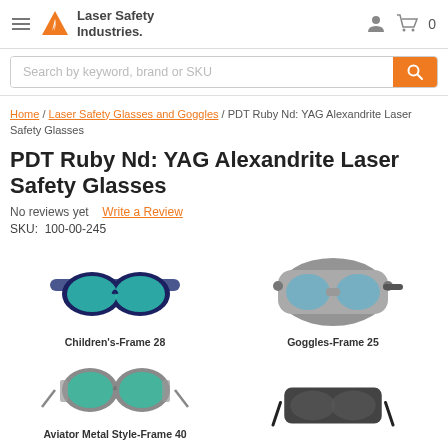[Figure (logo): Laser Safety Industries logo with orange triangle/flame icon and bold text]
[Figure (screenshot): Navigation bar with hamburger menu, logo, user icon, cart icon, and 0 count]
[Figure (screenshot): Search bar with placeholder 'Search by keyword, brand or SKU' and orange search button]
Home / Laser Safety Glasses and Goggles / PDT Ruby Nd: YAG Alexandrite Laser Safety Glasses
PDT Ruby Nd: YAG Alexandrite Laser Safety Glasses
No reviews yet  Write a Review
SKU:  100-00-245
[Figure (photo): Children's laser safety goggles with blue frame and teal lenses - Children's-Frame 28]
[Figure (photo): Laser safety goggles with grey frame - Goggles-Frame 25]
[Figure (photo): Aviator metal style laser safety glasses with teal lenses - Aviator Metal Style-Frame 40]
[Figure (photo): Laser safety glasses with black frame visible at bottom right]